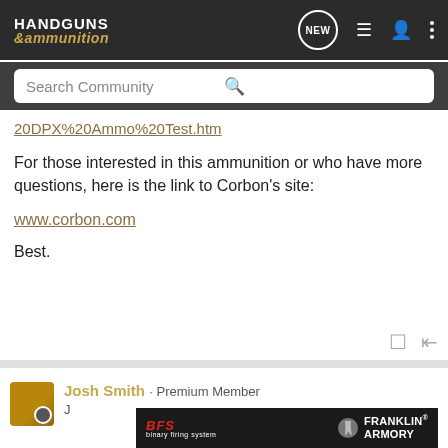HANDGUNS & ammunition — Search Community
20DPX%20Ammo%20Test.htm
For those interested in this ammunition or who have more questions, here is the link to Corbon's site:
www.corbon.com
Best.
Josh Smith · Premium Member
[Figure (screenshot): Franklin Armory advertisement banner with BFS logo and person shooting a rifle]